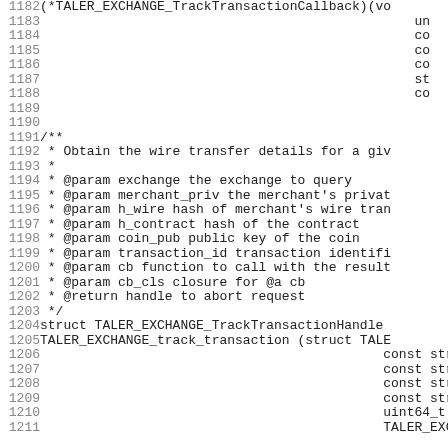[Figure (other): Source code listing lines 1182-1211 showing C API documentation for TALER_EXCHANGE_TrackTransactionCallback and TALER_EXCHANGE_track_transaction function]